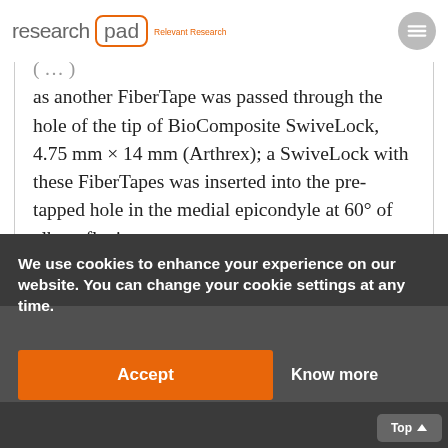research pad — Relevant Research
(…) as another FiberTape was passed through the hole of the tip of BioComposite SwiveLock, 4.75 mm × 14 mm (Arthrex); a SwiveLock with these FiberTapes was inserted into the pre-tapped hole in the medial epicondyle at 60° of elbow flexion.
We use cookies to enhance your experience on our website. You can change your cookie settings at any time.